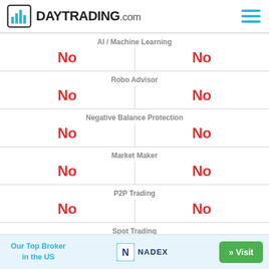DAYTRADING.com
| AI / Machine Learning | Col1 | Col2 |
| --- | --- | --- |
| AI / Machine Learning | No | No |
| Robo Advisor | No | No |
| Negative Balance Protection | No | No |
| Market Maker | No | No |
| P2P Trading | No | No |
| Spot Trading | Yes | Yes |
Our Top Broker in the US  NADEX  » Visit